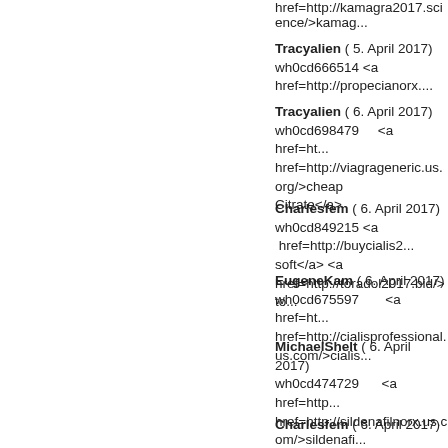href=http://kamagra2017.science/>kamag...
Tracyalien ( 5. April 2017)
wh0cd666514 <a href=http://propecianorx....
Tracyalien ( 6. April 2017)
wh0cd698479 <a href=ht... href=http://viagrageneric.us.org/>cheap Citrate</a>
Charlesfem ( 6. April 2017)
wh0cd849215 <a href=http://buycialis2... soft</a> <a href=http://toradol2017.bid/>to...
EugeneKam ( 6. April 2017)
wh0cd675597 <a href=ht... href=http://cialisprofessional.us.com/>cialis...
MichaelShelt ( 6. April 2017)
wh0cd474729 <a href=http... href=http://sildenafilnorx.us.com/>sildenafi... href=http://propecianorx.us.com/>propecia...
Charlesfem ( 6. April 2017)
wh0cd913149 <a href=http://albuterolom... href=http://buysildenafil3.us/>buy sildenafi... without a proscription</a> <a hre... href=http://buyavodart4.us/>avodart</a>
Aaronbat ( 6. April 2017)
wh0cd922246 <a href=http://propecianorx....
Charlesfem ( 6. April 2017)
wh0cd945116 <a href=http://prazosin.top/...